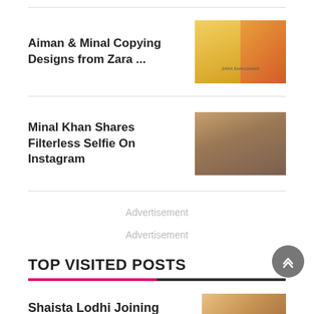Aiman & Minal Copying Designs from Zara ...
[Figure (photo): Two women in floral/yellow outfits with Zara Shahjahan branding in center]
Minal Khan Shares Filterless Selfie On Instagram
[Figure (photo): Minal Khan closeup selfie photo]
Advertisement
Advertisement
TOP VISITED POSTS
Shaista Lodhi Joining Medical